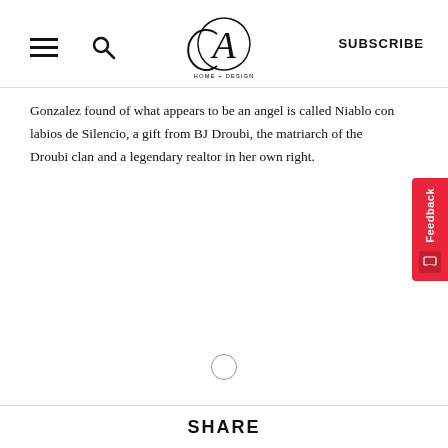CA HOME + DESIGN | SUBSCRIBE
Gonzalez found of what appears to be an angel is called Niablo con labios de Silencio, a gift from BJ Droubi, the matriarch of the Droubi clan and a legendary realtor in her own right.
SHARE